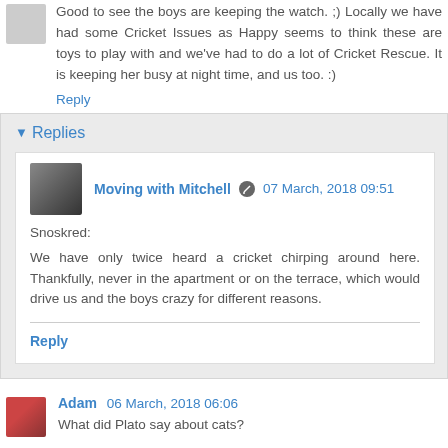Good to see the boys are keeping the watch. ;) Locally we have had some Cricket Issues as Happy seems to think these are toys to play with and we've had to do a lot of Cricket Rescue. It is keeping her busy at night time, and us too. :)
Reply
Replies
Moving with Mitchell  07 March, 2018 09:51
Snoskred:
We have only twice heard a cricket chirping around here. Thankfully, never in the apartment or on the terrace, which would drive us and the boys crazy for different reasons.
Reply
Adam 06 March, 2018 06:06
What did Plato say about cats?